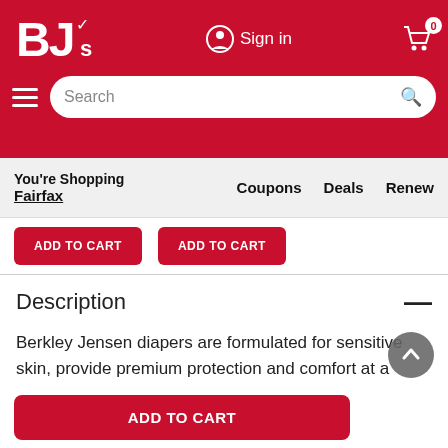BJ's Wholesale Club
You're Shopping Fairfax
Coupons   Deals   Renew
ADD TO CART
ADD TO CART
Description
Berkley Jensen diapers are formulated for sensitive skin, provide premium protection and comfort at a great value. These ultra-absorbent diapers have advanced leakage protection so you can trust y
ADD TO CART